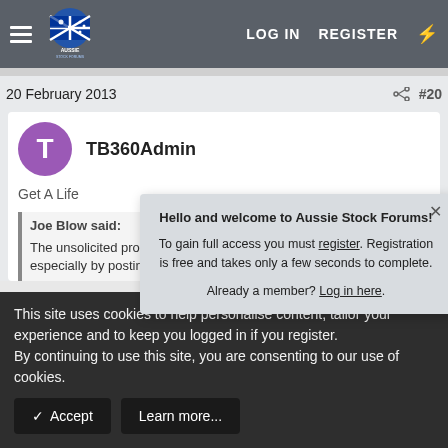LOG IN   REGISTER
20 February 2013   #20
TB360Admin
Get A Life
Joe Blow said:
The unsolicited promotion of your business on a forum, especially by posting the same cut and paste promotional
Hello and welcome to Aussie Stock Forums!

To gain full access you must register. Registration is free and takes only a few seconds to complete.

Already a member? Log in here.
This site uses cookies to help personalise content, tailor your experience and to keep you logged in if you register.
By continuing to use this site, you are consenting to our use of cookies.
✓ Accept
Learn more...